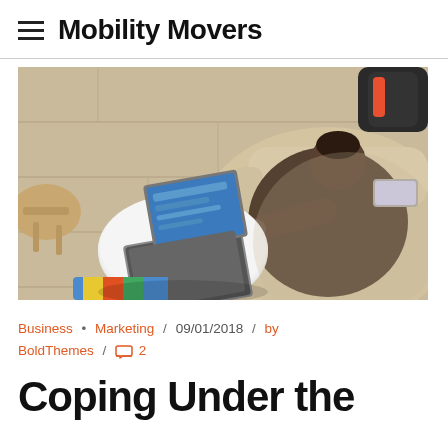Mobility Movers
[Figure (photo): Overhead view of a man sitting on a beige couch, working on a laptop placed on a round white coffee table, with a smartphone nearby on the couch arm]
Business • Marketing / 09/01/2018 / by BoldThemes / 💬 2
Coping Under the